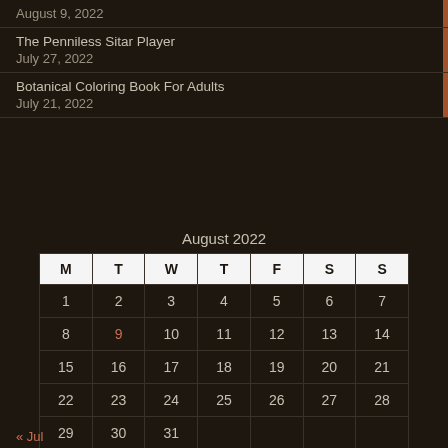August 9, 2022
The Penniless Sitar Player
July 27, 2022
Botanical Coloring Book For Adults
July 21, 2022
August 2022
| M | T | W | T | F | S | S |
| --- | --- | --- | --- | --- | --- | --- |
| 1 | 2 | 3 | 4 | 5 | 6 | 7 |
| 8 | 9 | 10 | 11 | 12 | 13 | 14 |
| 15 | 16 | 17 | 18 | 19 | 20 | 21 |
| 22 | 23 | 24 | 25 | 26 | 27 | 28 |
| 29 | 30 | 31 |  |  |  |  |
« Jul